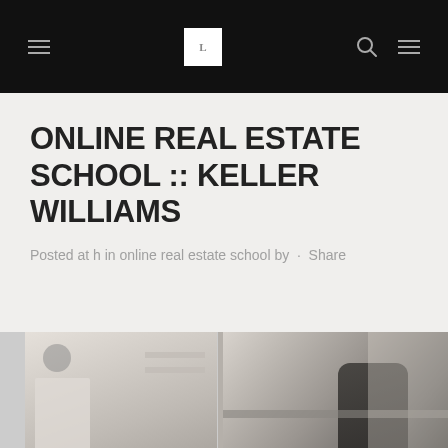Navigation bar with hamburger menu, logo, search icon, and menu icon
ONLINE REAL ESTATE SCHOOL :: KELLER WILLIAMS
Posted at h in online real estate school by · Share
[Figure (photo): A split photo showing an office or home interior scene on the left and a person leaning over a table on the right]